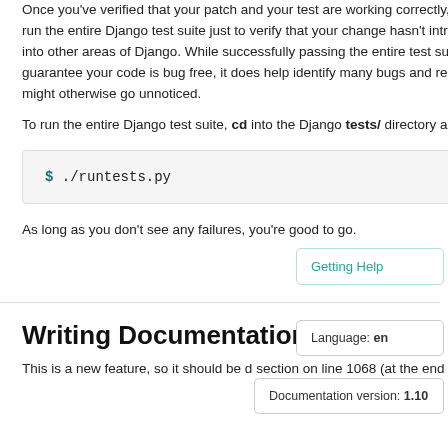Once you've verified that your patch and your test are working correctly, it's a good idea to run the entire Django test suite just to verify that your change hasn't introduced any bugs into other areas of Django. While successfully passing the entire test suite doesn't guarantee your code is bug free, it does help identify many bugs and regressions that might otherwise go unnoticed.
To run the entire Django test suite, cd into the Django tests/ directory and run:
$ ./runtests.py
As long as you don't see any failures, you're good to go.
Getting Help
Writing Documentation
Language: en
Documentation version: 1.10
This is a new feature, so it should be d section on line 1068 (at the end of the file) of